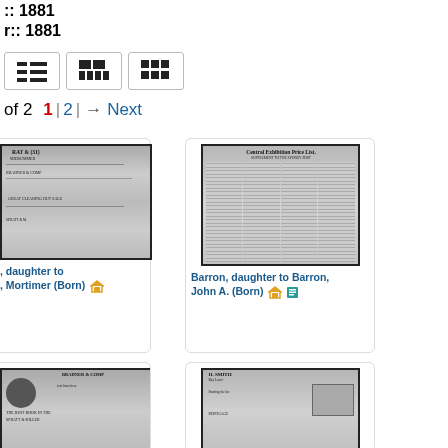:: 1881
r:: 1881
[Figure (screenshot): View toggle buttons: list view, medium grid, large grid]
of 2   1 | 2 |  → Next
[Figure (photo): Newspaper page thumbnail - partial, left card, text includes RAT & (31), MIDSUMMER, BRADNER & COMPANY, GREAT CLEARING OUT SALE]
, daughter to
, Mortimer (Born) 🏠
[Figure (photo): Newspaper page thumbnail - Central Exhibition Price List, supplement to the Sydney Post]
Barron, daughter to Barron, John A. (Born) 🏠📄
[Figure (photo): Newspaper page thumbnail - bottom left, partial view, BRADNER & COMPANY text visible]
[Figure (photo): Newspaper page thumbnail - bottom right, partial view, H. SMITH text visible]